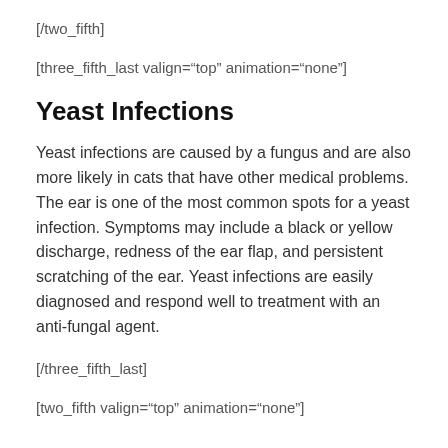[/two_fifth]
[three_fifth_last valign="top" animation="none"]
Yeast Infections
Yeast infections are caused by a fungus and are also more likely in cats that have other medical problems. The ear is one of the most common spots for a yeast infection. Symptoms may include a black or yellow discharge, redness of the ear flap, and persistent scratching of the ear. Yeast infections are easily diagnosed and respond well to treatment with an anti-fungal agent.
[/three_fifth_last]
[two_fifth valign="top" animation="none"]